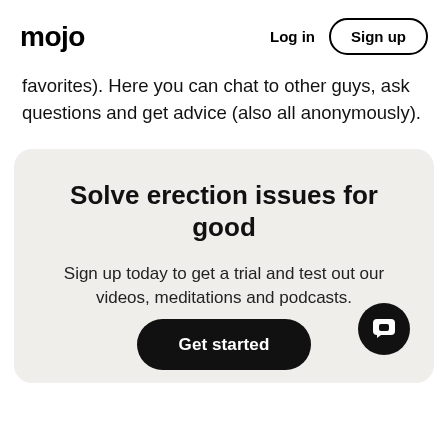mojo  Log in  Sign up
favorites). Here you can chat to other guys, ask questions and get advice (also all anonymously).
Solve erection issues for good
Sign up today to get a trial and test out our videos, meditations and podcasts.
Get started